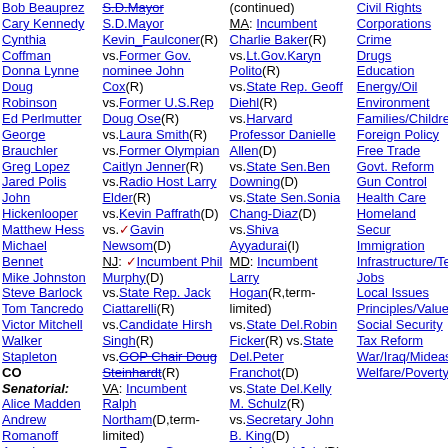Column 1: candidate names list for Colorado including Bob Beauprez, Cary Kennedy, Cynthia Coffman, Donna Lynne, Doug Robinson, Ed Perlmutter, George Brauchler, Greg Lopez, Jared Polis, John Hickenlooper, Matthew Hess, Michael Bennet, Mike Johnston, Steve Barlock, Tom Tancredo, Victor Mitchell, Walker Stapleton. CO Senatorial: Alice Madden, Andrew Romanoff, Angela Williams, Gary Gardner
Column 2: CA S.D.Mayor Kevin Faulconer(R) vs Former Gov nominee John Cox(R) vs Former U.S.Rep Doug Ose(R) vs Laura Smith(R) vs Former Olympian Caitlyn Jenner(R) vs Radio Host Larry Elder(R) vs Kevin Paffrath(D) vs Gavin Newsom(D). NJ: Incumbent Phil Murphy(D) vs State Rep. Jack Ciattarelli(R) vs Candidate Hirsh Singh(R) vs GOP Chair Doug Steinhardt(R). VA: Incumbent Ralph Northam(D,term-limited) vs Former Governor Terry McAuliffe(D) vs CEO Glenn Youngkin(R) vs A.G. Mark
Column 3: (continued) MA: Incumbent Charlie Baker(R) vs Lt.Gov.Karyn Polito(R) vs State Rep. Geoff Diehl(R) vs Harvard Professor Danielle Allen(D) vs State Sen.Ben Downing(D) vs State Sen.Sonia Chang-Diaz(D) vs Shiva Ayyadurai(I). MD: Incumbent Larry Hogan(R,term-limited) vs State Del.Robin Ficker(R) vs State Del.Peter Franchot(D) vs State Del.Kelly M. Schulz(R) vs Secretary John B. King(D) vs Ashwani Jain(D) vs State A.G. Doug Gansler(D) vs County Exec. Rushem Baker(D)
Column 4 topics: Civil Rights, Corporations, Crime, Drugs, Education, Energy/Oil, Environment, Families/Children, Foreign Policy, Free Trade, Govt. Reform, Gun Control, Health Care, Homeland Security, Immigration, Infrastructure/Tech, Jobs, Local Issues, Principles/Values, Social Security, Tax Reform, War/Iraq/Mideast, Welfare/Poverty